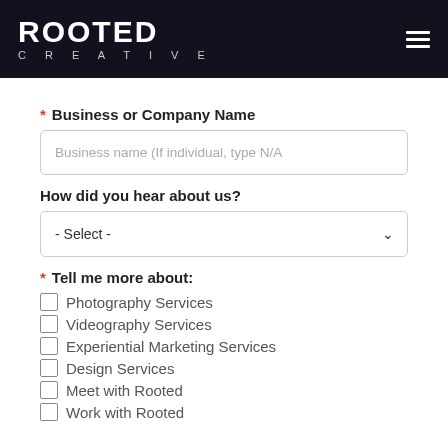[Figure (logo): Rooted Creative logo — white bold text ROOTED with CREATIVE in spaced letters below, on dark navy background. Hamburger menu icon top right.]
* Business or Company Name
Business name (If individual, type N/A)
How did you hear about us?
- Select -
* Tell me more about:
Photography Services
Videography Services
Experiential Marketing Services
Design Services
Meet with Rooted
Work with Rooted